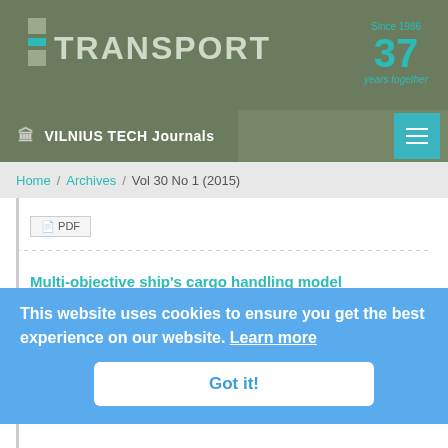TRANSPORT — Since 1986 37 years together
🏛 VILNIUS TECH Journals
Home / Archives / Vol 30 No 1 (2015)
PDF
Multi-objective ship's cargo handling model
Mirano Hess, Svjetlana Hess
https://doi.org/10.3846/16484142.2010.791500
Page 55–60
PDF
This website uses cookies to ensure you get the best experience on our website. Learn more
Got it!